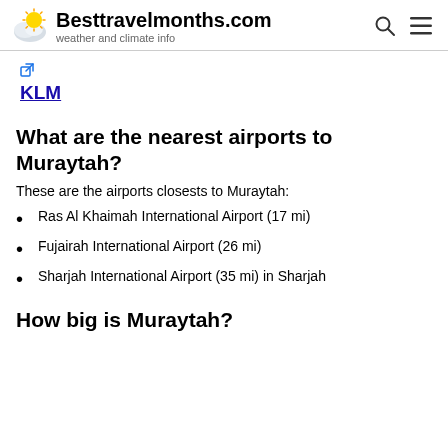Besttravelmonths.com — weather and climate info
[Figure (logo): KLM airline logo link with external link icon]
What are the nearest airports to Muraytah?
These are the airports closests to Muraytah:
Ras Al Khaimah International Airport (17 mi)
Fujairah International Airport (26 mi)
Sharjah International Airport (35 mi) in Sharjah
How big is Muraytah?